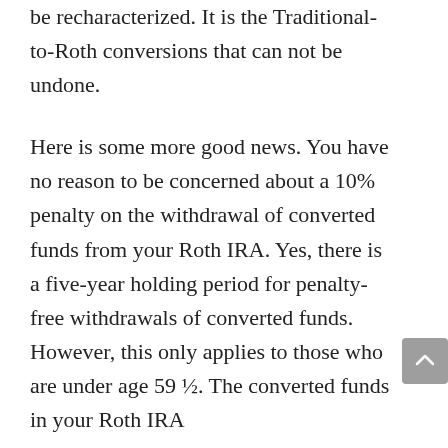be recharacterized. It is the Traditional-to-Roth conversions that can not be undone.
Here is some more good news. You have no reason to be concerned about a 10% penalty on the withdrawal of converted funds from your Roth IRA. Yes, there is a five-year holding period for penalty-free withdrawals of converted funds. However, this only applies to those who are under age 59 ½. The converted funds in your Roth IRA